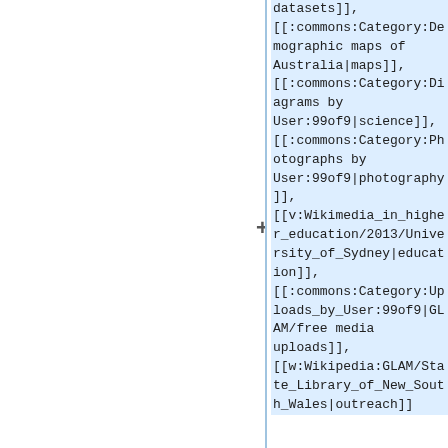datasets]], [[:commons:Category:Demographic maps of Australia|maps]], [[:commons:Category:Diagrams by User:99of9|science]], [[:commons:Category:Photographs by User:99of9|photography]], [[v:Wikimedia_in_higher_education/2013/University_of_Sydney|education]], [[:commons:Category:Uploads_by_User:99of9|GLAM/free media uploads]], [[w:Wikipedia:GLAM/State_Library_of_New_South_Wales|outreach]]